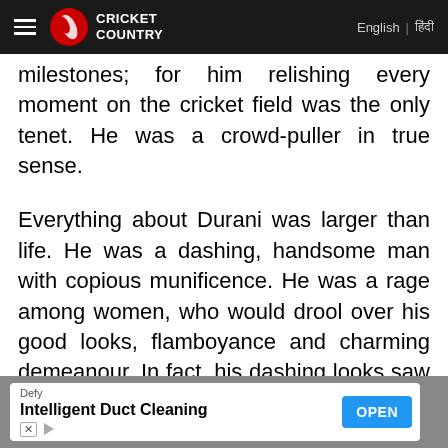Cricket Country | English | हिंदी
milestones; for him relishing every moment on the cricket field was the only tenet. He was a crowd-puller in true sense.
Everything about Durani was larger than life. He was a dashing, handsome man with copious munificence. He was a rage among women, who would drool over his good looks, flamboyance and charming demeanour. In fact, his dashing looks saw him act in a Bollywood film, "Charithra" opposite Parveen Babi.
[Figure (other): Advertisement banner: Defy - Intelligent Duct Cleaning - OPEN button]